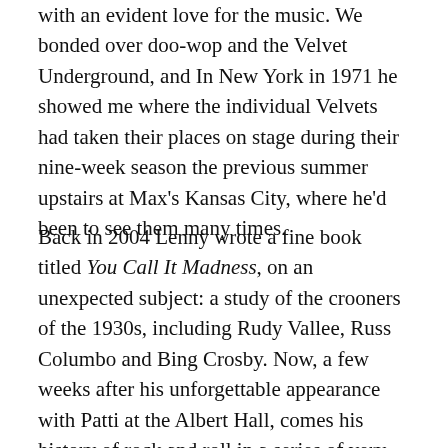with an evident love for the music. We bonded over doo-wop and the Velvet Underground, and In New York in 1971 he showed me where the individual Velvets had taken their places on stage during their nine-week season the previous summer upstairs at Max's Kansas City, where he'd been to see them many times.
Back in 2004 Lenny wrote a fine book titled You Call It Madness, on an unexpected subject: a study of the crooners of the 1930s, including Rudy Vallee, Russ Columbo and Bing Crosby. Now, a few weeks after his unforgettable appearance with Patti at the Albert Hall, comes his history of rock and roll in a series of very enjoyable vignettes, from Memphis in 1954 to Seattle in 1991 via New Orleans, Philadelphia, Liverpool, San Francisco, Detroit, New York City, London, and Los Angeles and Norway, who share the penultimate chapter